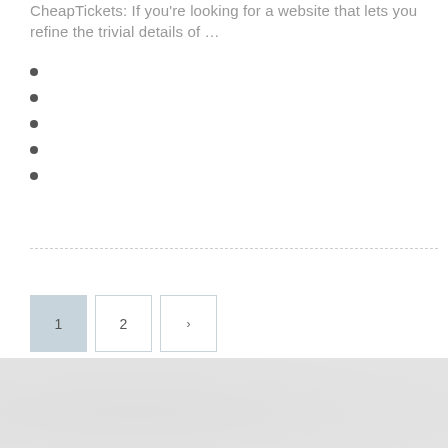CheapTickets: If you're looking for a website that lets you refine the trivial details of …
[Figure (screenshot): Pagination controls showing page 1 (active/highlighted), page 2, and a next arrow button]
[Figure (photo): Light grey textured background image at the bottom of the page]